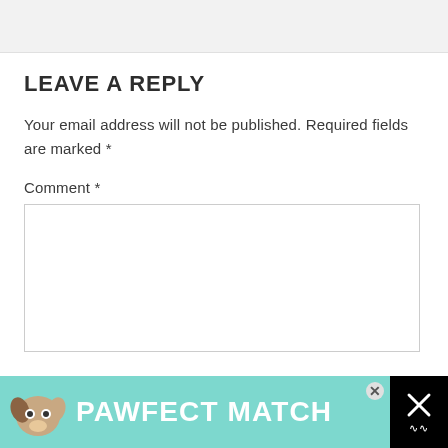LEAVE A REPLY
Your email address will not be published. Required fields are marked *
Comment *
[Figure (screenshot): Empty comment text area input box with border]
[Figure (infographic): PAWFECT MATCH advertisement banner with dog illustration on teal/mint background with close button and X dismiss button on black right side]